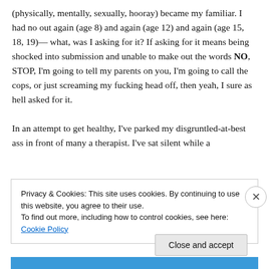(physically, mentally, sexually, hooray) became my familiar. I had no out again (age 8) and again (age 12) and again (age 15, 18, 19)— what, was I asking for it? If asking for it means being shocked into submission and unable to make out the words NO, STOP, I'm going to tell my parents on you, I'm going to call the cops, or just screaming my fucking head off, then yeah, I sure as hell asked for it.

In an attempt to get healthy, I've parked my disgruntled-at-best ass in front of many a therapist. I've sat silent while a
Privacy & Cookies: This site uses cookies. By continuing to use this website, you agree to their use.
To find out more, including how to control cookies, see here: Cookie Policy
Close and accept